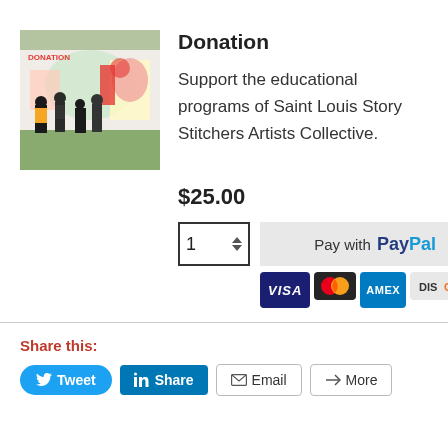[Figure (photo): Photo of people painting a colorful mural on a wall outdoors]
Donation
Support the educational programs of Saint Louis Story Stitchers Artists Collective.
$25.00
[Figure (screenshot): Quantity input box showing 1, and Pay with PayPal button with Visa, Mastercard, AMEX, Discover card logos]
Share this:
Tweet
Share
Email
More